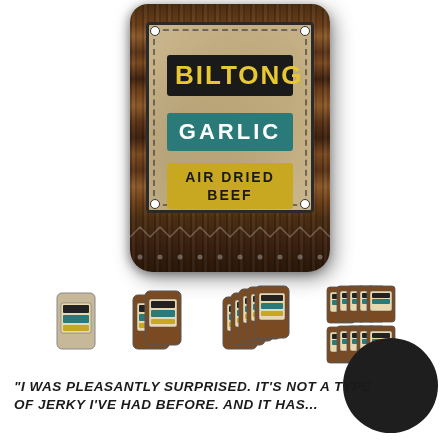[Figure (photo): Biltong Garlic Air Dried Beef product package - a dark wood-grain textured pouch with a label showing 'BILTONG' in yellow on black, 'GARLIC' in white on teal, and 'AIR DRIED BEEF' in black on yellow, with a vintage map background on the label]
[Figure (photo): Row of four thumbnail product images showing single pack, double pack, 5-pack, and 10-pack quantity options for the Biltong Garlic product]
[Figure (other): Dark circular badge/button element in the bottom right]
"I WAS PLEASANTLY SURPRISED. IT'S NOT A TYPE OF JERKY I'VE HAD BEFORE. AND IT HAS...